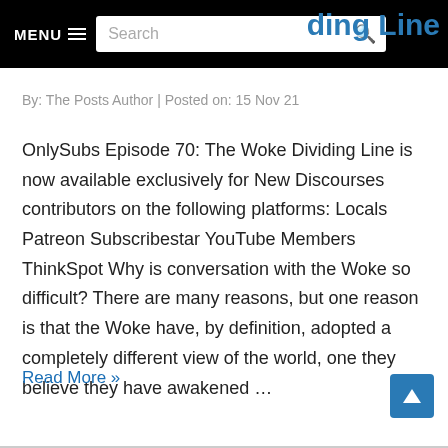MENU ☰  Search  [partial title: ...ding Line]
By: The Posts Author | Posted on: 15 Nov 21
OnlySubs Episode 70: The Woke Dividing Line is now available exclusively for New Discourses contributors on the following platforms: Locals Patreon Subscribestar YouTube Members ThinkSpot Why is conversation with the Woke so difficult? There are many reasons, but one reason is that the Woke have, by definition, adopted a completely different view of the world, one they believe they have awakened …
Read More »